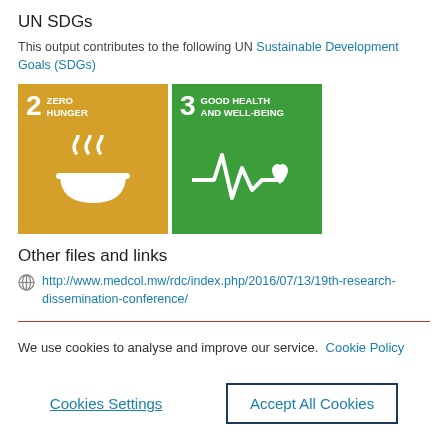UN SDGs
This output contributes to the following UN Sustainable Development Goals (SDGs)
[Figure (infographic): Two UN SDG icons: SDG 2 Zero Hunger (gold/yellow background, bowl with steam icon) and SDG 3 Good Health and Well-Being (green background, heartbeat with heart icon)]
Other files and links
http://www.medcol.mw/rdc/index.php/2016/07/13/19th-research-dissemination-conference/
We use cookies to analyse and improve our service. Cookie Policy
Cookies Settings
Accept All Cookies